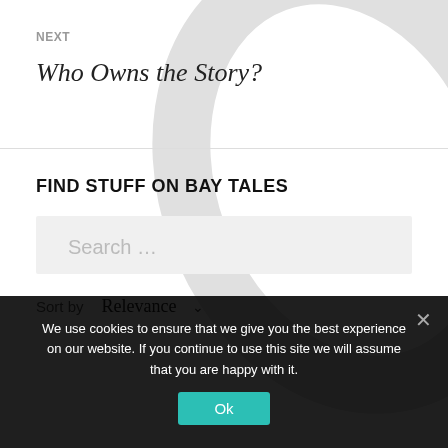NEXT
Who Owns the Story?
FIND STUFF ON BAY TALES
Search …
Sort by  Relevance
We use cookies to ensure that we give you the best experience on our website. If you continue to use this site we will assume that you are happy with it.